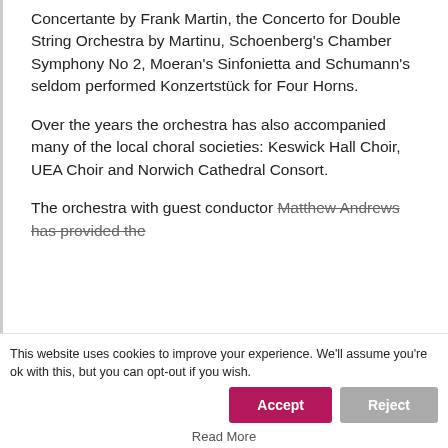Concertante by Frank Martin, the Concerto for Double String Orchestra by Martinu, Schoenberg's Chamber Symphony No 2, Moeran's Sinfonietta and Schumann's seldom performed Konzertstück for Four Horns.
Over the years the orchestra has also accompanied many of the local choral societies: Keswick Hall Choir, UEA Choir and Norwich Cathedral Consort.
The orchestra with guest conductor Matthew Andrews has provided the
This website uses cookies to improve your experience. We'll assume you're ok with this, but you can opt-out if you wish.
Read More